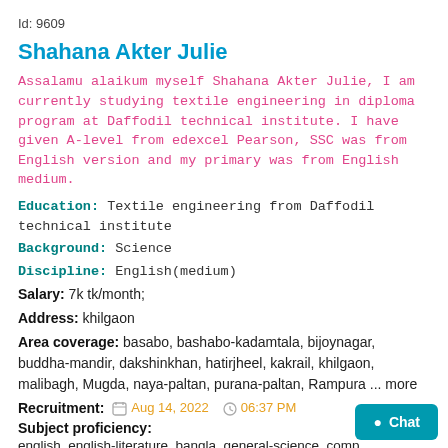Id: 9609
Shahana Akter Julie
Assalamu alaikum myself Shahana Akter Julie, I am currently studying textile engineering in diploma program at Daffodil technical institute. I have given A-level from edexcel Pearson, SSC was from English version and my primary was from English medium.
Education: Textile engineering from Daffodil technical institute
Background: Science
Discipline: English(medium)
Salary: 7k tk/month;
Address: khilgaon
Area coverage: basabo, bashabo-kadamtala, bijoynagar, buddha-mandir, dakshinkhan, hatirjheel, kakrail, khilgaon, malibagh, Mugda, naya-paltan, purana-paltan, Rampura ... more
Recruitment: Aug 14, 2022 06:37 PM
Subject proficiency:
english, english-literature, bangla, general-science, comp